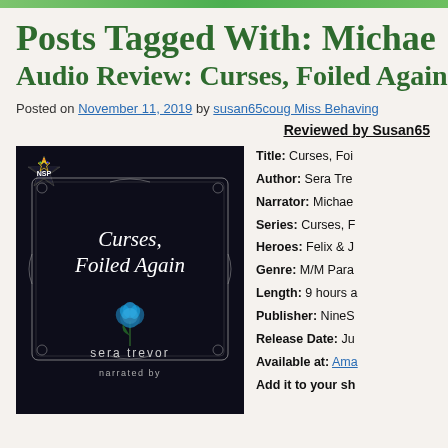Posts Tagged With: Michae
Audio Review: Curses, Foiled Again by
Posted on November 11, 2019 by susan65coug Miss Behaving
Reviewed by Susan65
[Figure (photo): Book cover for 'Curses, Foiled Again' by Sera Trevor, narrated by [narrator], with NSP badge, dark background with ornate frame and blue rose illustration]
Title: Curses, Foi...
Author: Sera Tre...
Narrator: Michae...
Series: Curses, F...
Heroes: Felix & J...
Genre: M/M Para...
Length: 9 hours a...
Publisher: NineS...
Release Date: Ju...
Available at: Ama...
Add it to your sh...